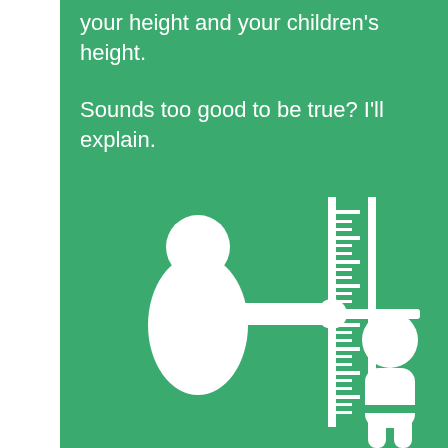your height and your children's height.
Sounds too good to be true? I'll explain.
[Figure (illustration): White icon illustration on green background: an adult figure (parent) bending over and placing a hand on a height measurement ruler/scale against which a child figure stands being measured.]